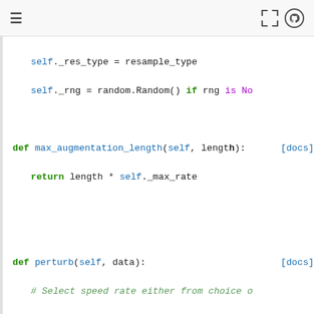≡  [expand icon] [github icon]
Code block showing Python class methods: max_augmentation_length and perturb
self._res_type = resample_type
        self._rng = random.Random() if rng is No

    def max_augmentation_length(self, length):  [docs]
        return length * self._max_rate


    def perturb(self, data):              [docs]
        # Select speed rate either from choice o
        if self._num_rates < 0:
            speed_rate = self._rng.uniform(self.
        else:
            speed_rate = self._rng.choice(self._r

        # Skip perturbation in case of identity s
        if speed_rate == 1.0:
            return

        new_sr = int(self._sr * speed_rate)
        data._samples = librosa.core.resample(
            data._samples, orig_sr=self._sr, targ
        )